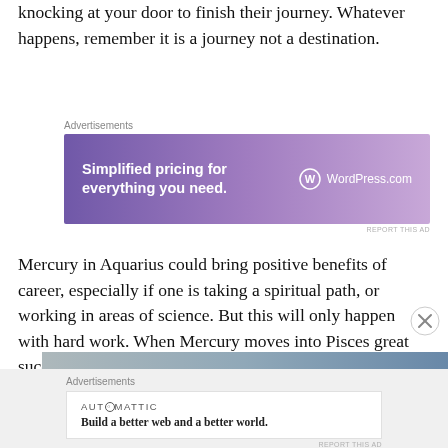knocking at your door to finish their journey. Whatever happens, remember it is a journey not a destination.
[Figure (other): WordPress.com advertisement banner: 'Simplified pricing for everything you need.' with WordPress.com logo on gradient purple background]
Mercury in Aquarius could bring positive benefits of career, especially if one is taking a spiritual path, or working in areas of science. But this will only happen with hard work. When Mercury moves into Pisces great success and fame is possible but take care as you could have issues in relationships or with your health.
[Figure (other): Automattic advertisement: 'Build a better web and a better world.' with gray image banner above]